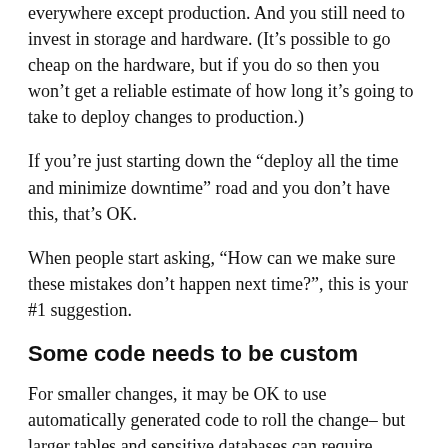everywhere except production. And you still need to invest in storage and hardware. (It’s possible to go cheap on the hardware, but if you do so then you won’t get a reliable estimate of how long it’s going to take to deploy changes to production.)
If you’re just starting down the “deploy all the time and minimize downtime” road and you don’t have this, that’s OK.
When people start asking, “How can we make sure these mistakes don’t happen next time?”, this is your #1 suggestion.
Some code needs to be custom
For smaller changes, it may be OK to use automatically generated code to roll the change– but larger tables and sensitive databases can require custom coding to